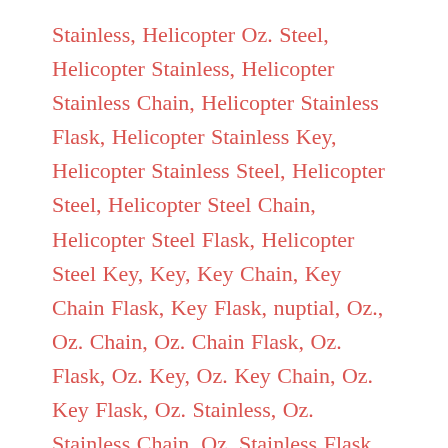Stainless, Helicopter Oz. Steel, Helicopter Stainless, Helicopter Stainless Chain, Helicopter Stainless Flask, Helicopter Stainless Key, Helicopter Stainless Steel, Helicopter Steel, Helicopter Steel Chain, Helicopter Steel Flask, Helicopter Steel Key, Key, Key Chain, Key Chain Flask, Key Flask, nuptial, Oz., Oz. Chain, Oz. Chain Flask, Oz. Flask, Oz. Key, Oz. Key Chain, Oz. Key Flask, Oz. Stainless, Oz. Stainless Chain, Oz. Stainless Flask, Oz. Stainless Key, Oz. Stainless Steel, Oz. Steel, Oz. Steel Chain, Oz. Steel Flask, Oz. Steel Key, Silver, Silver 1, Silver 1 Chain, Silver 1 Flask, Silver 1 Key, Silver 1 Oz., Silver 1 Stainless, Silver 1 Steel, Silver Chain, Silver Chain Flask, Silver Etched, Silver Etched 1, Silver Etched Chain, Silver Etched Flask, Silver Etched Helicopter, Silver Etched Key, Silver Etched Oz., Silver Etched Stainless, Silver Etched